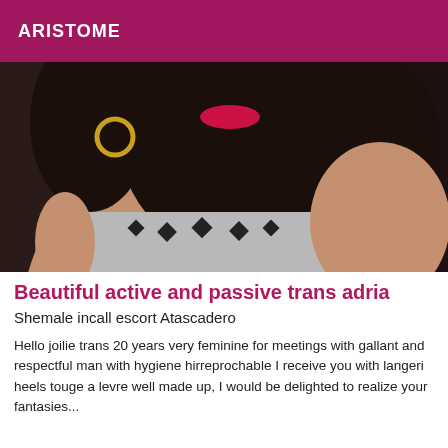ARISTOME
[Figure (photo): Close-up photo of a woman with dark curly hair, red lips, hoop earrings, wearing a grey sleeveless top with black studded embellishments]
Beautiful active and passive trans adria
Shemale incall escort Atascadero
Hello joilie trans 20 years very feminine for meetings with gallant and respectful man with hygiene hirreprochable I receive you with langeri heels touge a levre well made up, I would be delighted to realize your fantasies...